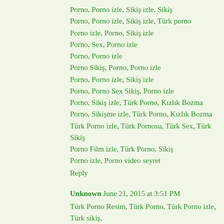Porno, Porno izle, Sikiş izle, Sikiş
Porno, Porno izle, Sikiş izle, Türk porno
Porno izle, Porno, Sikiş izle
Porno, Sex, Porno izle
Porno, Porno izle
Porno Sikiş, Porno, Porno izle
Porno, Porno izle, Sikiş izle
Porno, Porno Sex Sikiş, Porno izle
Porno, Sikiş izle, Türk Porno, Kızlık Bozma
Porno, Sikişme izle, Türk Porno, Kızlık Bozma
Türk Porno izle, Türk Pornosu, Türk Sex, Türk Sikiş
Porno Film izle, Türk Porno, Sikiş
Porno izle, Porno video seyret
Reply
Unknown  June 21, 2015 at 3:51 PM
Türk Porno Resim, Türk Porno, Türk Porno izle, Türk sikiş,
Porno, Porno izle, Sikiş izle, Türk porno,Mobil Porno,
Porno, Porno izle, Sikiş izle, Türk porno,Mobil Porno,
Porno, Porno izle, Sikiş izle, Sikiş, Türk porno, Mobil Porno,
Porno, Sikişme izle, Türk Porno, Kızlık Bozma, Porno izle sikiş